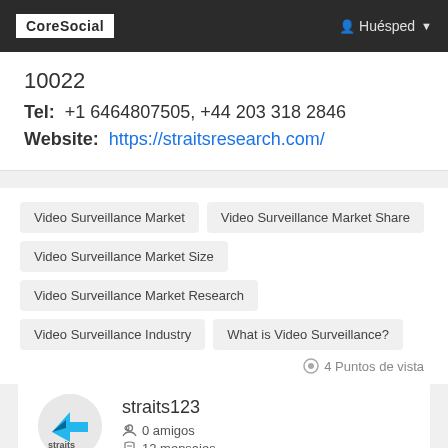CoreSocial | Huésped
10022
Tel: +1 6464807505, +44 203 318 2846
Website: https://straitsresearch.com/
Video Surveillance Market
Video Surveillance Market Share
Video Surveillance Market Size
Video Surveillance Market Research
Video Surveillance Industry
What is Video Surveillance?
4 Puntos de vista
straits123
0 amigos
12 mensajes